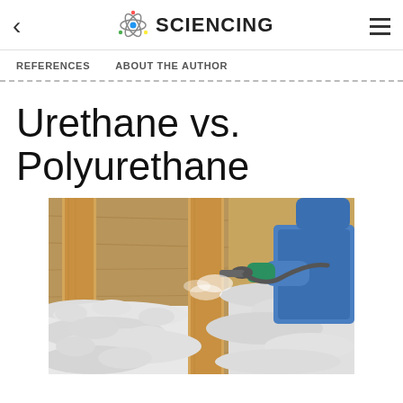< SCIENCING ≡
REFERENCES   ABOUT THE AUTHOR
Urethane vs. Polyurethane
[Figure (photo): A person in a blue protective suit spraying spray foam insulation into a wall cavity with wooden studs and OSB board visible.]